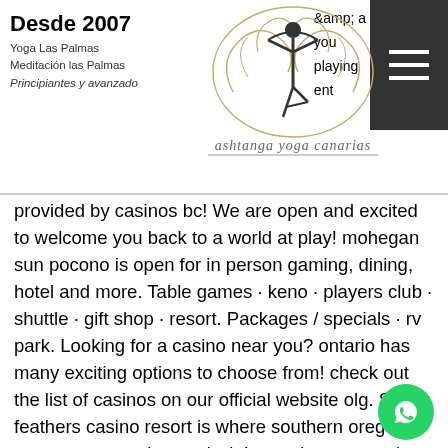Desde 2007 | Yoga Las Palmas | Meditación las Palmas | Principiantes y avanzado | ashtanga yoga canarias
amp; a you playing ent provided by casinos bc! We are open and excited to welcome you back to a world at play! mohegan sun pocono is open for in person gaming, dining, hotel and more. Table games · keno · players club · shuttle · gift shop · resort. Packages / specials · rv park. Looking for a casino near you? ontario has many exciting options to choose from! check out the list of casinos on our official website olg. Seven feathers casino resort is where southern oregon comes to stay, play, and win! experience award wining gaming and hospitality off exit 99. The first two casinos opened april 1, 2019. Oaklawn racing casino resort was launched in hot springs and southland gaming &amp; racing was b west memphis. Seminole casino coconu creek offers an organized &amp; upscale